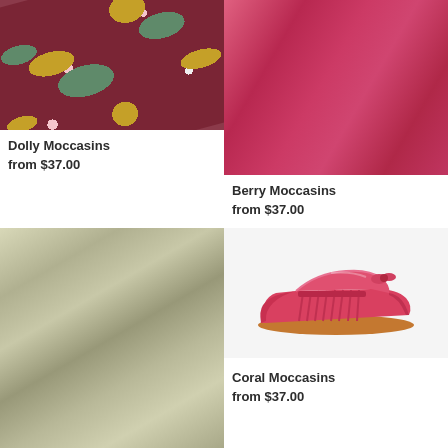[Figure (photo): Floral patterned fabric (dark burgundy/red base with gold and teal botanical motifs and small pink flowers) at an angle — product image for Dolly Moccasins]
Dolly Moccasins
from $37.00
[Figure (photo): Close-up of berry/magenta pink leather fabric draped at an angle — product image for Berry Moccasins]
Berry Moccasins
from $37.00
[Figure (photo): Close-up of silver/gold metallic fabric draped at an angle — product image for a moccasin product]
[Figure (photo): Coral/red-pink baby moccasin shoe with fringe detail — product image for Coral Moccasins]
Coral Moccasins
from $37.00